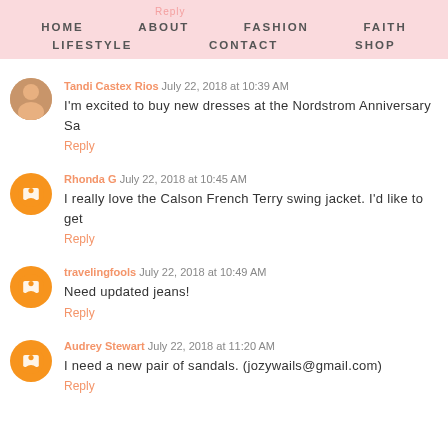HOME  ABOUT  FASHION  FAITH
LIFESTYLE  CONTACT  SHOP
Tandi Castex Rios July 22, 2018 at 10:39 AM
I'm excited to buy new dresses at the Nordstrom Anniversary Sa
Reply
Rhonda G July 22, 2018 at 10:45 AM
I really love the Calson French Terry swing jacket. I'd like to get
Reply
travelingfools July 22, 2018 at 10:49 AM
Need updated jeans!
Reply
Audrey Stewart July 22, 2018 at 11:20 AM
I need a new pair of sandals. (jozywails@gmail.com)
Reply